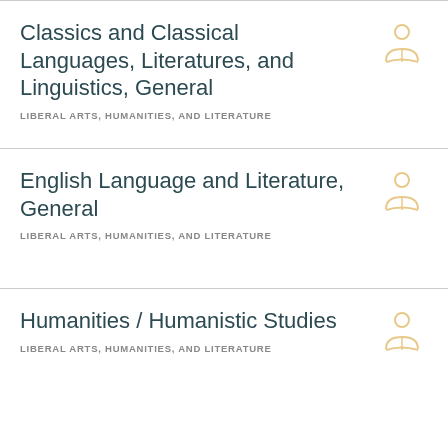Classics and Classical Languages, Literatures, and Linguistics, General
LIBERAL ARTS, HUMANITIES, AND LITERATURE
English Language and Literature, General
LIBERAL ARTS, HUMANITIES, AND LITERATURE
Humanities / Humanistic Studies
LIBERAL ARTS, HUMANITIES, AND LITERATURE